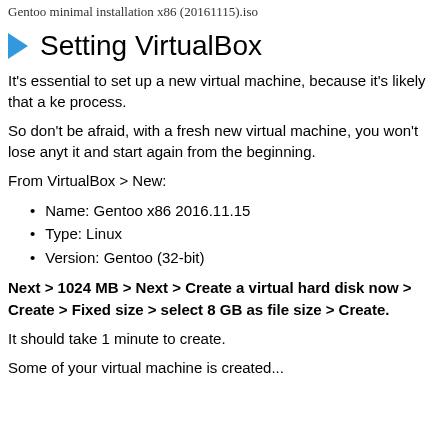Gentoo minimal installation x86 (20161115).iso
Setting VirtualBox
It's essential to set up a new virtual machine, because it's likely that a ke process.
So don't be afraid, with a fresh new virtual machine, you won't lose anyt it and start again from the beginning.
From VirtualBox > New:
Name: Gentoo x86 2016.11.15
Type: Linux
Version: Gentoo (32-bit)
Next > 1024 MB > Next > Create a virtual hard disk now > Create > Fixed size > select 8 GB as file size > Create.
It should take 1 minute to create.
Some of your virtual machine is created...